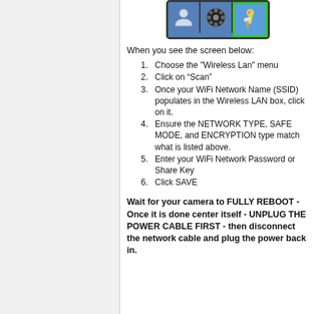[Figure (screenshot): Icon toolbar with three icons: a person/account icon, a film reel icon, and a tools/wrench icon highlighted with a green border, indicating the selected tab.]
When you see the screen below:
1. Choose the "Wireless Lan" menu
2. Click on “Scan”
3. Once your WiFi Network Name (SSID) populates in the Wireless LAN box, click on it.
4. Ensure the NETWORK TYPE, SAFE MODE, and ENCRYPTION type match what is listed above.
5. Enter your WiFi Network Password or Share Key
6. Click SAVE
Wait for your camera to FULLY REBOOT - Once it is done center itself - UNPLUG THE POWER CABLE FIRST - then disconnect the network cable and plug the power back in.